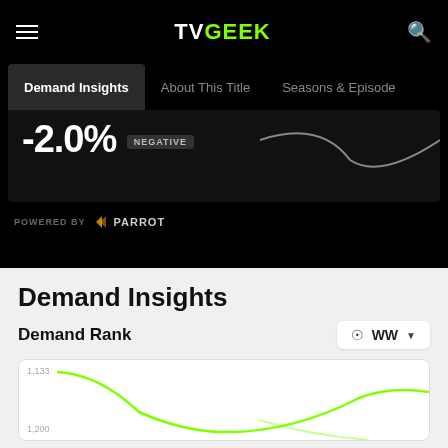TVGEEK
Demand Insights
About This Title
Seasons & Episodes
-2.0% NEGATIVE
POWERED BY PARROT ANALYTICS
Demand Insights
Demand Rank
[Figure (continuous-plot): Line chart showing Demand Rank over time, with green line starting at rank 1,133 and dipping before recovering, with a second line also shown. Y-axis labels: 1,133 and 1,200.]